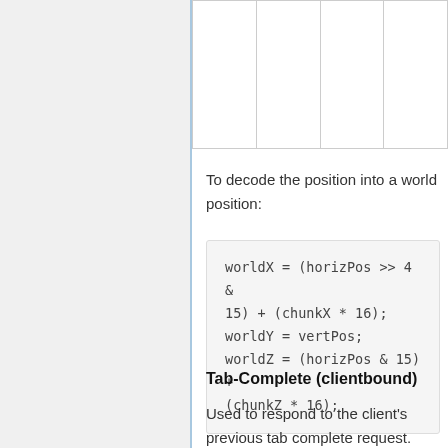|  |  |  |  |
To decode the position into a world position:
Tab-Complete (clientbound)
Used to respond to the client's previous tab complete request.